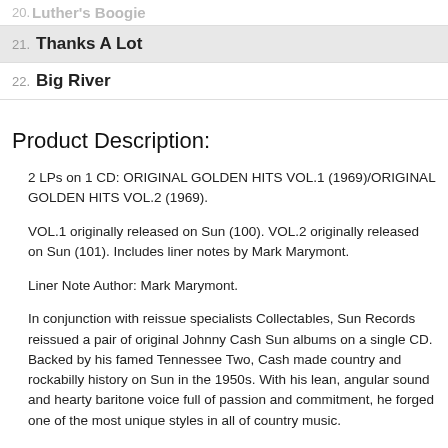20. Luther's Boogie
21. Thanks A Lot
22. Big River
Product Description:
2 LPs on 1 CD: ORIGINAL GOLDEN HITS VOL.1 (1969)/ORIGINAL GOLDEN HITS VOL.2 (1969).
VOL.1 originally released on Sun (100). VOL.2 originally released on Sun (101). Includes liner notes by Mark Marymont.
Liner Note Author: Mark Marymont.
In conjunction with reissue specialists Collectables, Sun Records reissued a pair of original Johnny Cash Sun albums on a single CD. Backed by his famed Tennessee Two, Cash made country and rockabilly history on Sun in the 1950s. With his lean, angular sound and hearty baritone voice full of passion and commitment, he forged one of the most unique styles in all of country music.
The two albums featured here were hits packages that Sun released in an attempt to summarize the career of the man